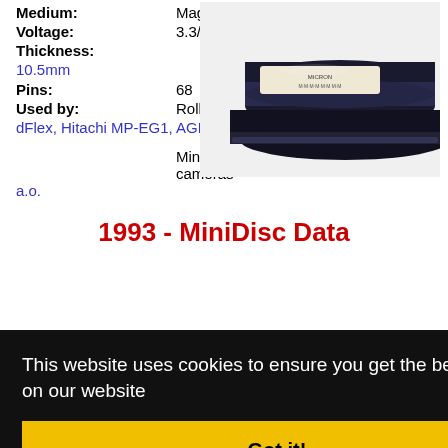Medium: Magnetic coated platter
Voltage: 3.3/5 Volts
Thickness: 10.5mm
Pins: 68
Used by: Rollei dFlex, Hitachi MP-EG1, AGFA ActionCam
[Figure (photo): Stack of hard disk drive platters photographed from the side, showing layered metallic discs]
Minolta RD-175, some Kodak DCS cameras a.o.
1993 - MiniDisc Data
This website uses cookies to ensure you get the best experience on our website
Got it!
iDisc in al ized oused tended dio rought to market the MD Data. This